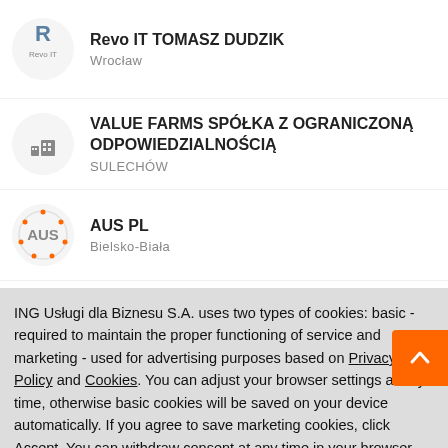Revo IT TOMASZ DUDZIK
Wrocław
VALUE FARMS SPÓŁKA Z OGRANICZONĄ ODPOWIEDZIALNOŚCIĄ
SULECHÓW
AUS PL
Bielsko-Biała
BLUE BEAR SPÓŁKA Z OGRANICZONĄ ODPOWIEDZIALNOŚCIĄ
ING Usługi dla Biznesu S.A. uses two types of cookies: basic - required to maintain the proper functioning of service and marketing - used for advertising purposes based on Privacy Policy and Cookies. You can adjust your browser settings at any time, otherwise basic cookies will be saved on your device automatically. If you agree to save marketing cookies, click Accept. You can withdraw consent at any time in your browser settings.